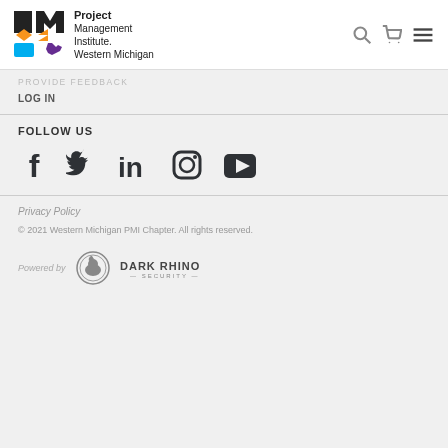Project Management Institute. Western Michigan
PROVIDE FEEDBACK
LOG IN
FOLLOW US
[Figure (illustration): Social media icons: Facebook, Twitter, LinkedIn, Instagram, YouTube]
Privacy Policy
© 2021 Western Michigan PMI Chapter. All rights reserved.
[Figure (logo): Dark Rhino Security logo with circular emblem and text]
Powered by